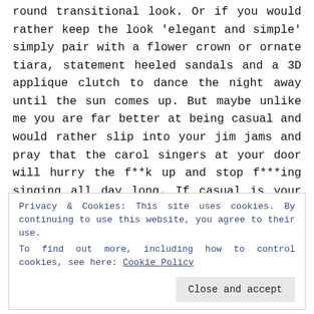round transitional look. Or if you would rather keep the look 'elegant and simple' simply pair with a flower crown or ornate tiara, statement heeled sandals and a 3D applique clutch to dance the night away until the sun comes up. But maybe unlike me you are far better at being casual and would rather slip into your jim jams and pray that the carol singers at your door will hurry the f**k up and stop f***ing singing all day long. If casual is your middle name and the thought of having to leave your house dressed in anything but a onesie or a blanket makes you want to cry then have no fear, Nutmeg
Privacy & Cookies: This site uses cookies. By continuing to use this website, you agree to their use.
To find out more, including how to control cookies, see here: Cookie Policy